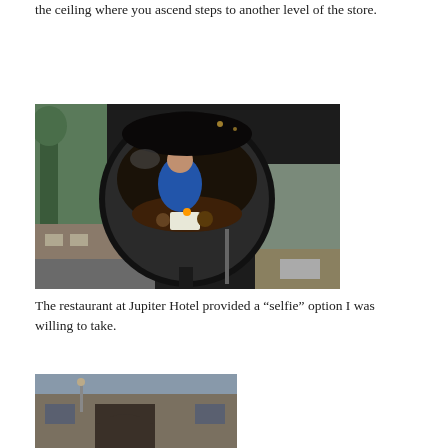the ceiling where you ascend steps to another level of the store.
[Figure (photo): A convex mirror reflection showing a person in a blue jacket sitting at a restaurant table, with the street and buildings visible outside. The mirror is mounted on a post inside or near the restaurant at Jupiter Hotel.]
The restaurant at Jupiter Hotel provided a “selfie” option I was willing to take.
[Figure (photo): Partial view of a building exterior, cropped at the bottom of the page.]